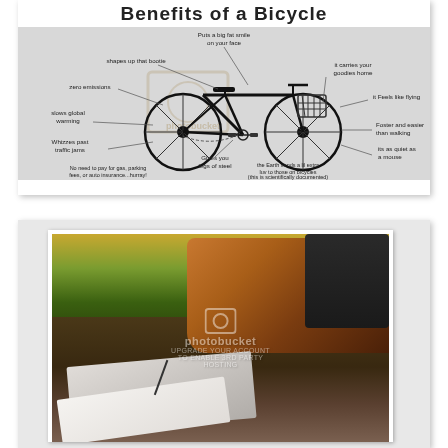[Figure (infographic): Benefits of a Bicycle infographic showing a hand-drawn bicycle with labeled annotations pointing to various parts and benefits: 'Puts a big fat smile on your face', 'shapes up that bootie', 'it carries your goodies home', 'zero emissions', 'it Feels like flying', 'slows global warming', 'Foster and easier than walking', 'Whizzes past traffic jams', 'Gives you legs of steel', 'its as quiet as a mouse', 'No need to pay for gas, parking fees, or auto insurance...hurray!', 'the Earth sends a lil extra luv to those on bicycles (this is scientifically documented)']
[Figure (photo): A vintage/polaroid-style photograph showing a bicycle with a wicker basket in the foreground on the right, a grassy park background with warm sunset light, and in the lower left foreground a notebook or journal with a pen on top, resting on a table or surface. Photo has a Photobucket watermark overlay.]